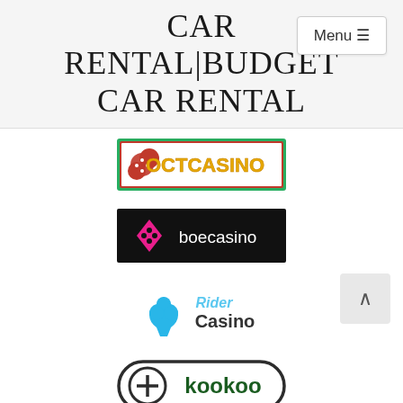CAR RENTAL|BUDGET CAR RENTAL
[Figure (logo): OCTCASINO logo — white background with red/green border, red dice icon on left, gold/yellow text 'OCTCASINO' in bold]
[Figure (logo): boecasino logo — black background, pink diamond/card suit icon on left, white text 'boecasino']
[Figure (logo): Rider Casino logo — blue spade/club icon on left, 'Rider' in light blue script above, 'Casino' in dark bold text]
[Figure (logo): kookoo logo — rounded pill shape with dark outline, circle with plus sign on left, dark green/teal text 'kookoo']
[Figure (logo): LEGALBET logo — partial view at bottom, red text 'LEGALBET' with green circular icon]